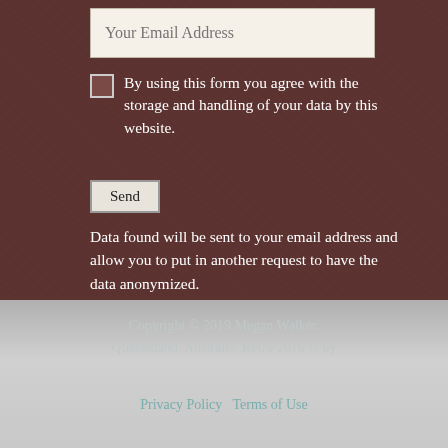Your Email Address
By using this form you agree with the storage and handling of your data by this website.
Send
Data found will be sent to your email address and allow you to put in another request to have the data anonymized.
Copyright © 2019 Megan Walker. Queensland, Australia. Retro 2016 © by
Privacy Policy   Terms of Use